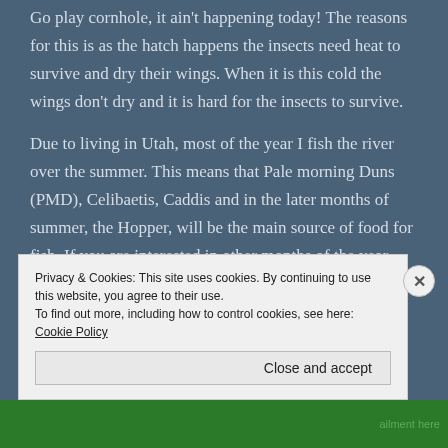Go play cornhole, it ain't happening today! The reasons for this is as the hatch happens the insects need heat to survive and dry their wings. When it is this cold the wings don't dry and it is hard for the insects to survive.
Due to living in Utah, most of the year I fish the river over the summer. This means that Pale morning Duns (PMD), Celibaetis, Caddis and in the later months of summer, the Hopper, will be the main source of food for fish. If you are interested in other months of the year you can check out The Three Rivers Ranch Hatch Chart here. They have a really helpful reference to go to throughout the year.
Privacy & Cookies: This site uses cookies. By continuing to use this website, you agree to their use.
To find out more, including how to control cookies, see here: Cookie Policy
Close and accept